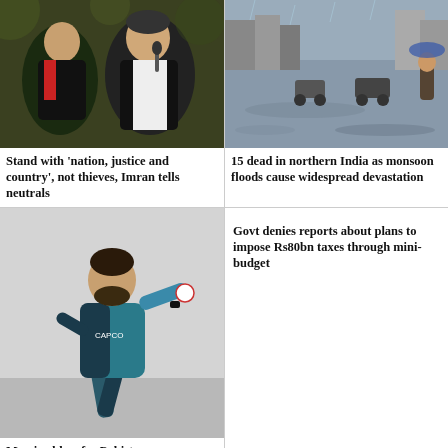[Figure (photo): Two men at a political rally, one holding a microphone, wearing black traditional Pakistani shalwar kameez]
Stand with 'nation, justice and country', not thieves, Imran tells neutrals
[Figure (photo): Flooded street in northern India with vehicles and people wading through water during monsoon season]
15 dead in northern India as monsoon floods cause widespread devastation
[Figure (photo): Pakistani cricketer Shaheen Afridi in bowling action, wearing blue and dark jersey]
Govt denies reports about plans to impose Rs80bn taxes through mini-budget
Massive blow for Pakistan as Shaheen Afridi hurt...